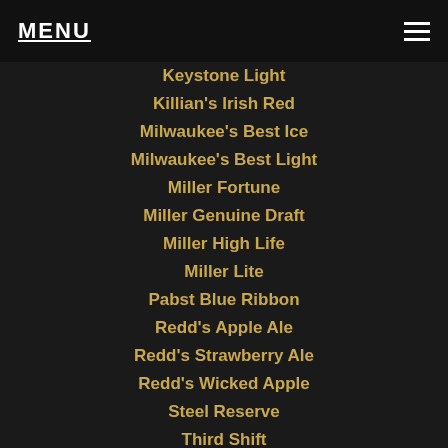MENU
Keystone Light
Killian's Irish Red
Milwaukee's Best Ice
Milwaukee's Best Light
Miller Fortune
Miller Genuine Draft
Miller High Life
Miller Lite
Pabst Blue Ribbon
Redd's Apple Ale
Redd's Strawberry Ale
Redd's Wicked Apple
Steel Reserve
Third Shift
IMPORT
Amstel Light